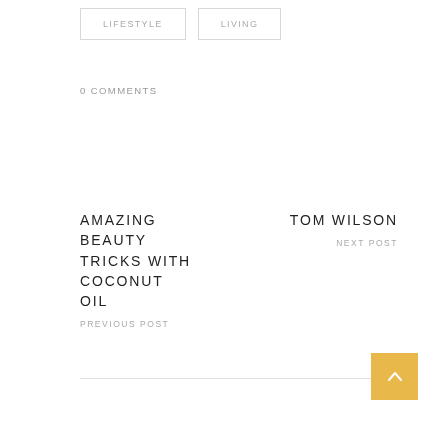LIFESTYLE
LIVING
0 COMMENTS
AMAZING BEAUTY TRICKS WITH COCONUT OIL
PREVIOUS POST
TOM WILSON
NEXT POST